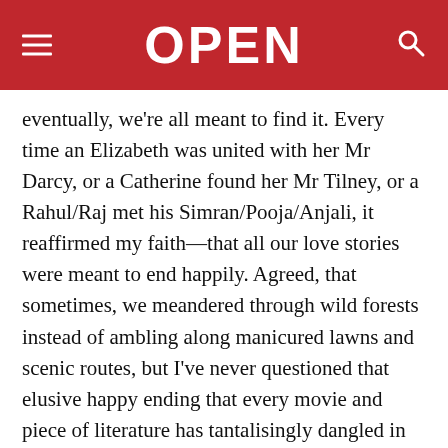OPEN
eventually, we're all meant to find it. Every time an Elizabeth was united with her Mr Darcy, or a Catherine found her Mr Tilney, or a Rahul/Raj met his Simran/Pooja/Anjali, it reaffirmed my faith—that all our love stories were meant to end happily. Agreed, that sometimes, we meandered through wild forests instead of ambling along manicured lawns and scenic routes, but I've never questioned that elusive happy ending that every movie and piece of literature has tantalisingly dangled in front of me for the past two decades.
But what if some of us weren't meant to find love